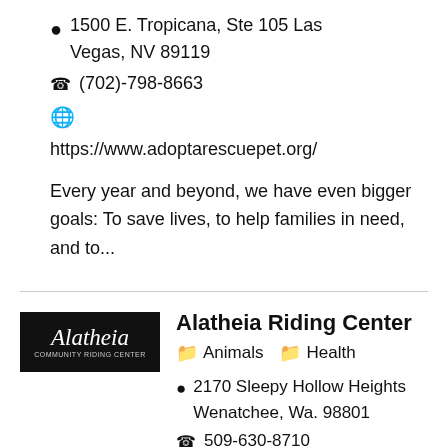📍 1500 E. Tropicana, Ste 105 Las Vegas, NV 89119
📞 (702)-798-8663
🌐 https://www.adoptarescuepet.org/
Every year and beyond, we have even bigger goals: To save lives, to help families in need, and to...
Alatheia Riding Center
Animals
Health
📍 2170 Sleepy Hollow Heights Wenatchee, Wa. 98801
📞 509-630-8710